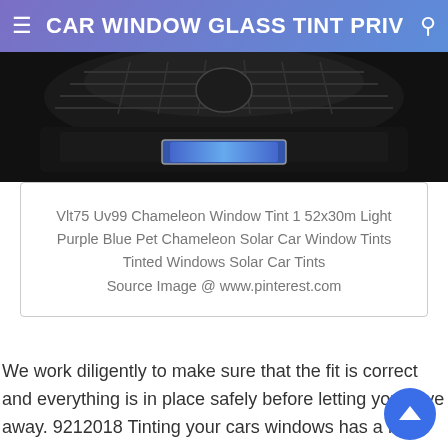CAR WINDOW GLASS TINT PRIV
[Figure (photo): Close-up photo of the front grille and lower bumper area of a dark/black car, showing a blue license plate at the bottom]
Vlt75 Uv99 Chameleon Window Tint 1 52x30m Light Purple Blue Pet Chameleon Solar Car Window Tints Tinted Windows Solar Car Tints
Source Image @ www.pinterest.com
We work diligently to make sure that the fit is correct and everything is in place safely before letting you drive away. 9212018 Tinting your cars windows has a lot of benefits besides adding some privacy and elegance to your vehi looks. Your Amber vehicle window tint images are ready in this